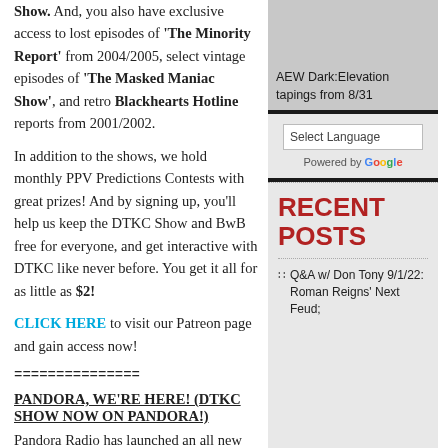Show. And, you also have exclusive access to lost episodes of 'The Minority Report' from 2004/2005, select vintage episodes of 'The Masked Maniac Show', and retro Blackhearts Hotline reports from 2001/2002.
In addition to the shows, we hold monthly PPV Predictions Contests with great prizes! And by signing up, you'll help us keep the DTKC Show and BwB free for everyone, and get interactive with DTKC like never before. You get it all for as little as $2!
CLICK HERE to visit our Patreon page and gain access now!
===============
PANDORA, WE'RE HERE! (DTKC SHOW NOW ON PANDORA!)
Pandora Radio has launched an all new Podcast section, which
[Figure (photo): Gray image with AEW Dark:Elevation tapings from 8/31 text overlay]
Select Language
Powered by Google
RECENT POSTS
Q&A w/ Don Tony 9/1/22: Roman Reigns' Next Feud;